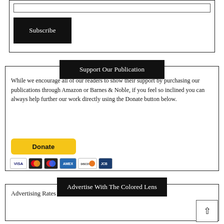[Figure (screenshot): Subscribe form with input box and black Subscribe button inside a bordered box]
Support Our Publication
While we encourage all of our readers to show their support by purchasing our publications through Amazon or Barnes & Noble, if you feel so inclined you can always help further our work directly using the Donate button below.
[Figure (screenshot): Yellow PayPal Donate button followed by payment method icons: Visa, Mastercard, another card, American Express, Discover, and one more card]
Advertise With The Colored Lens
Advertising Rates and Guidelines